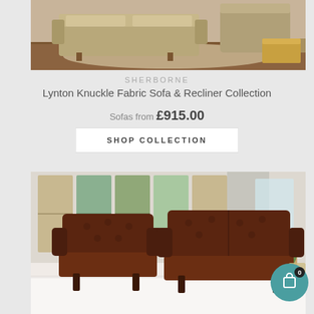[Figure (photo): Sherborne Lynton Knuckle Fabric Sofa and Recliner collection displayed in a living room setting on a decorative rug]
SHERBORNE
Lynton Knuckle Fabric Sofa & Recliner Collection
Sofas from £915.00
SHOP COLLECTION
[Figure (photo): Dark brown leather armchair and two-seater sofa set in a bright room with large windows]